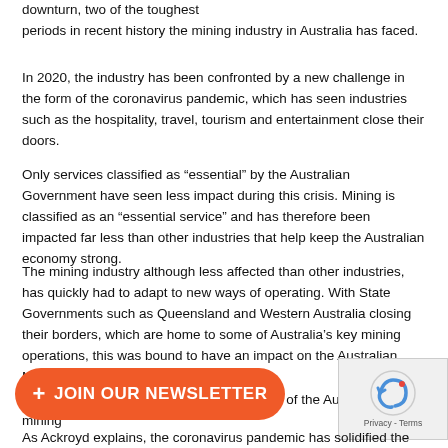downturn, two of the toughest periods in recent history the mining industry in Australia has faced.
In 2020, the industry has been confronted by a new challenge in the form of the coronavirus pandemic, which has seen industries such as the hospitality, travel, tourism and entertainment close their doors.
Only services classified as “essential” by the Australian Government have seen less impact during this crisis. Mining is classified as an “essential service” and has therefore been impacted far less than other industries that help keep the Australian economy strong.
The mining industry although less affected than other industries, has quickly had to adapt to new ways of operating. With State Governments such as Queensland and Western Australia closing their borders, which are home to some of Australia’s key mining operations, this was bound to have an impact on the Australian Mining industry.
Ackroyd remains positive about the position of the Australian mining
[Figure (other): Orange rounded button with plus sign and text JOIN OUR NEWSLETTER]
[Figure (other): reCAPTCHA widget with Privacy - Terms label]
As Ackroyd explains, the coronavirus pandemic has solidified the importance of the mining industry to the Australian economy, as